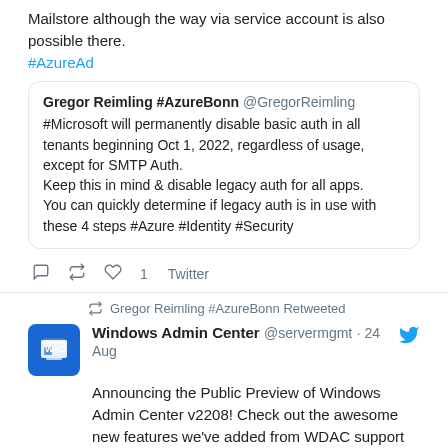Mailstore although the way via service account is also possible there.
#AzureAd
Gregor Reimling #AzureBonn @GregorReimling
#Microsoft will permanently disable basic auth in all tenants beginning Oct 1, 2022, regardless of usage, except for SMTP Auth.
Keep this in mind & disable legacy auth for all apps.
You can quickly determine if legacy auth is in use with these 4 steps #Azure #Identity #Security
♡ 1   Twitter
Gregor Reimling #AzureBonn Retweeted
Windows Admin Center @servermgmt · 24 Aug
Announcing the Public Preview of Windows Admin Center v2208! Check out the awesome new features we've added from WDAC support to enhanced Azure Stack HCI management 😀
https://techcommunity.microsoft.com/t5/windows-admin-center-...